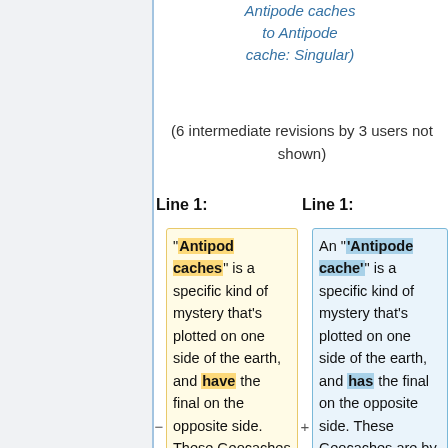Antipode caches to Antipode cache: Singular)
(6 intermediate revisions by 3 users not shown)
Line 1:
Line 1:
"Antipod caches" is a specific kind of mystery that's plotted on one side of the earth, and have the final on the opposite side. These Geocaches are by default excluded from all Geographical...
An "'Antipode cache'" is a specific kind of mystery that's plotted on one side of the earth, and has the final on the opposite side. These Geocaches are by default excluded from all Geographical statistics in the...